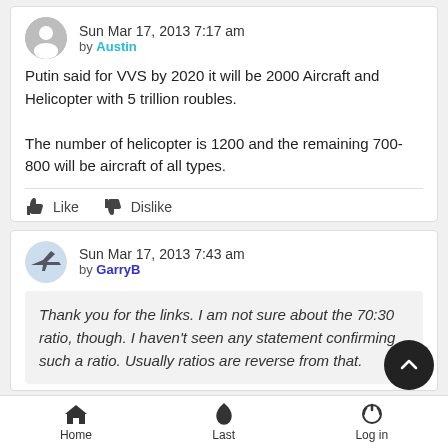Sun Mar 17, 2013 7:17 am by Austin
Putin said for VVS by 2020 it will be 2000 Aircraft and Helicopter with 5 trillion roubles.

The number of helicopter is 1200 and the remaining 700-800 will be aircraft of all types.
Like  Dislike
Sun Mar 17, 2013 7:43 am by GarryB
Thank you for the links. I am not sure about the 70:30 ratio, though. I haven't seen any statement confirming such a ratio. Usually ratios are reverse from that.
Home  Last  Log in